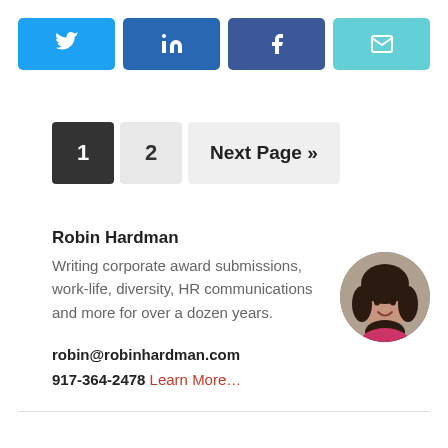[Figure (infographic): Social share buttons row: Twitter (light blue), LinkedIn (dark blue), Facebook (blue), Email (cyan)]
1  2  Next Page »
Robin Hardman
Writing corporate award submissions, work-life, diversity, HR communications and more for over a dozen years.

robin@robinhardman.com
917-364-2478 Learn More…
[Figure (photo): Circular portrait photo of Robin Hardman, a woman with dark curly hair, smiling]